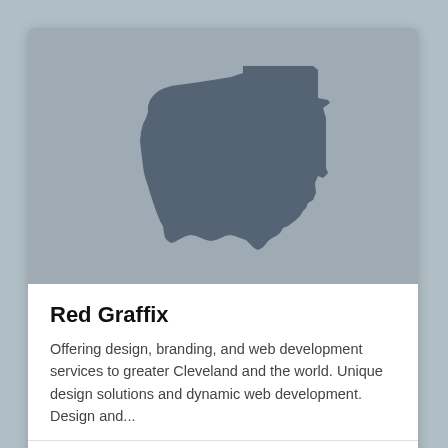[Figure (map): Silhouette map of the state of Ohio on a gray background]
Red Graffix
Offering design, branding, and web development services to greater Cleveland and the world. Unique design solutions and dynamic web development. Design and...
BEREA, OH
+3